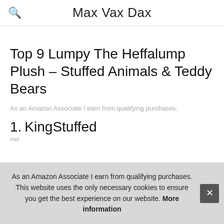Max Vax Dax
Top 9 Lumpy The Heffalump Plush – Stuffed Animals & Teddy Bears
As an Amazon Associate I earn from qualifying purchases.
1. KingStuffed
#ad
As an Amazon Associate I earn from qualifying purchases. This website uses the only necessary cookies to ensure you get the best experience on our website. More information